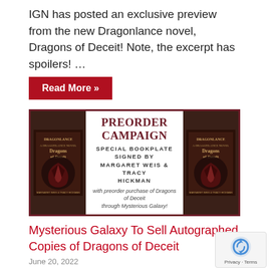IGN has posted an exclusive preview from the new Dragonlance novel, Dragons of Deceit! Note, the excerpt has spoilers! …
Read More »
[Figure (illustration): Preorder Campaign banner for Dragons of Deceit novel showing two book cover images on either side and text: PREORDER CAMPAIGN, SPECIAL BOOKPLATE SIGNED BY MARGARET WEIS & TRACY HICKMAN, with preorder purchase of Dragons of Deceit through Mysterious Galaxy!]
Mysterious Galaxy To Sell Autographed Copies of Dragons of Deceit
June 20, 2022
According to Margaret Weis, Del Rey has made arrangements with a bookstore, Mysterious Galaxy, to sell copies of Dragons …
Read More »